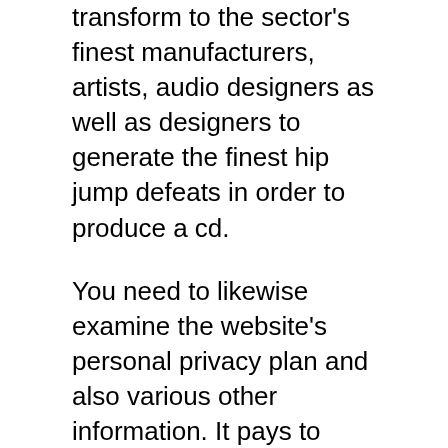transform to the sector's finest manufacturers, artists, audio designers as well as designers to generate the finest hip jump defeats in order to produce a cd.
You need to likewise examine the website's personal privacy plan and also various other information. It pays to understand that possesses the website, if they have assistance or assistance for customers, and also if they supply money-back assurance if you are not pleased.
If you really intend to produce your very first demonstration utilizing this sort of hip jump beats and also you do not have money to invest for a workshop recording, you can just download and install the beats and also